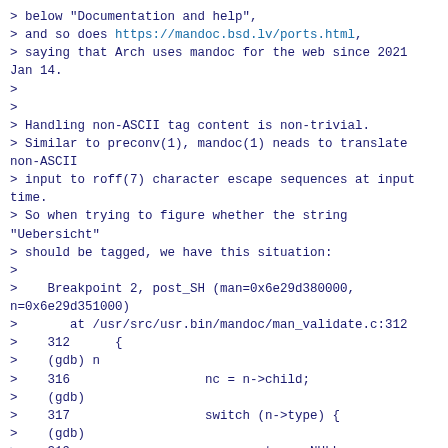> below "Documentation and help",
> and so does https://mandoc.bsd.lv/ports.html,
> saying that Arch uses mandoc for the web since 2021
Jan 14.
>
>
> Handling non-ASCII tag content is non-trivial.
> Similar to preconv(1), mandoc(1) neads to translate
non-ASCII
> input to roff(7) character escape sequences at input
time.
> So when trying to figure whether the string
"Uebersicht"
> should be tagged, we have this situation:
>
>    Breakpoint 2, post_SH (man=0x6e29d380000,
n=0x6e29d351000)
>       at /usr/src/usr.bin/mandoc/man_validate.c:312
>    312      {
>    (gdb) n
>    316                  nc = n->child;
>    (gdb)
>    317                  switch (n->type) {
>    (gdb)
>    319                          tag = NULL;
>    (gdb)
>    320                          deroff(&tag, n);
>    (gdb)
>    321                          if (tag != NULL) {
>    (gdb) p tag